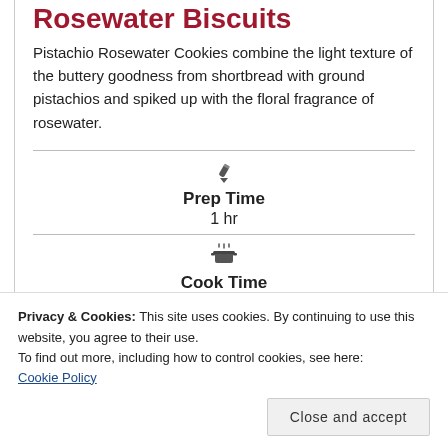Rosewater Biscuits
Pistachio Rosewater Cookies combine the light texture of the buttery goodness from shortbread with ground pistachios and spiked up with the floral fragrance of rosewater.
Prep Time
1 hr
Cook Time
15 mins
Privacy & Cookies: This site uses cookies. By continuing to use this website, you agree to their use.
To find out more, including how to control cookies, see here: Cookie Policy
Close and accept